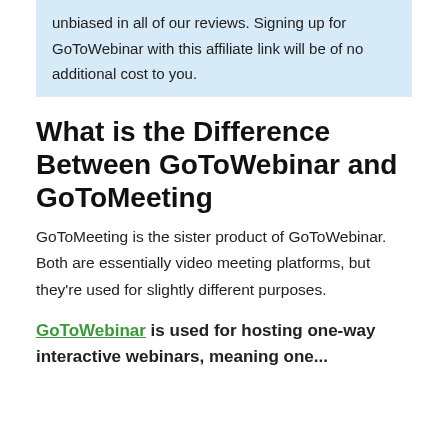unbiased in all of our reviews. Signing up for GoToWebinar with this affiliate link will be of no additional cost to you.
What is the Difference Between GoToWebinar and GoToMeeting
GoToMeeting is the sister product of GoToWebinar. Both are essentially video meeting platforms, but they're used for slightly different purposes.
GoToWebinar is used for hosting one-way interactive webinars, meaning one...